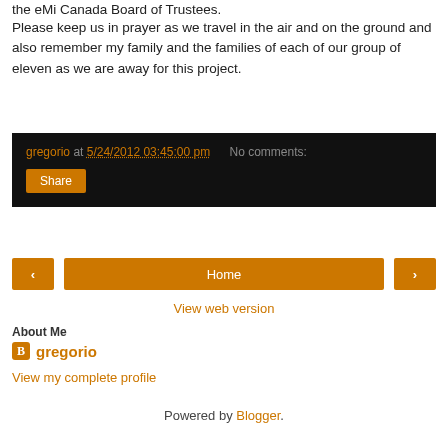the eMi Canada Board of Trustees.
Please keep us in prayer as we travel in the air and on the ground and also remember my family and the families of each of our group of eleven as we are away for this project.
gregorio at 5/24/2012 03:45:00 pm   No comments:
Share
‹
Home
›
View web version
About Me
gregorio
View my complete profile
Powered by Blogger.